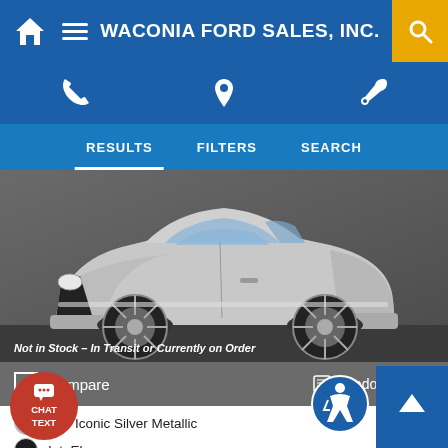WACONIA FORD SALES, INC.
RESULTS   FILTERS   SEARCH
[Figure (photo): Silver Ford Escape SUV rendered on dark background with text overlay 'Not in Stock - In Transit or Currently on Order']
Compare   Window Sticker
Ext: Iconic Silver Metallic
Int: Ebony
Stock #: 22T4579   VIN: 1FMCU9J95NUB39541
Fuel Type: Gasoline